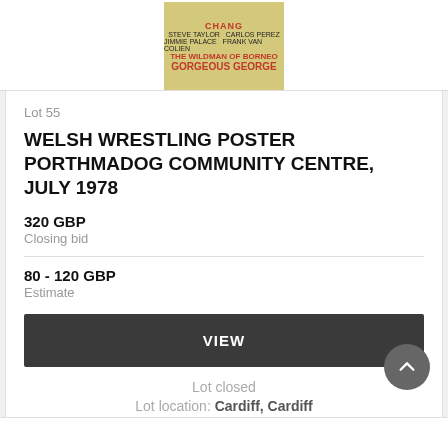[Figure (photo): Partial view of a Welsh wrestling poster featuring Gorgeous George and The Wildman of Borneo, printed on yellow background with red and black text]
Lot 55
WELSH WRESTLING POSTER PORTHMADOG COMMUNITY CENTRE, JULY 1978
320 GBP
Closing bid
80 - 120 GBP
Estimate
VIEW
Lot closed
Lot location: Cardiff, Cardiff